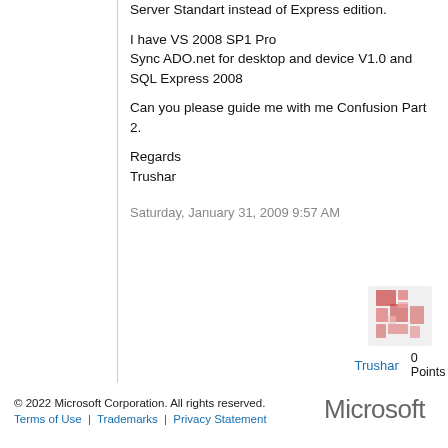Server Standart instead of Express edition.

I have VS 2008 SP1 Pro
Sync ADO.net for desktop and device V1.0 and
SQL Express 2008

Can you please guide me with me Confusion Part 2.

Regards
Trushar
Saturday, January 31, 2009 9:57 AM
[Figure (illustration): User avatar icon with a fragmented/puzzle-piece style graphic in pink/red tones]
Trushar  0 Points
© 2022 Microsoft Corporation. All rights reserved.
Terms of Use  |  Trademarks  |  Privacy Statement
[Figure (logo): Microsoft logo in gray text]